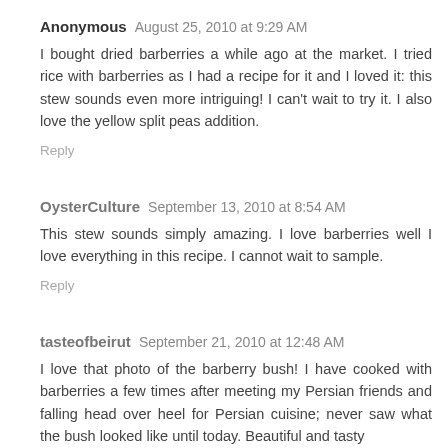Anonymous  August 25, 2010 at 9:29 AM
I bought dried barberries a while ago at the market. I tried rice with barberries as I had a recipe for it and I loved it: this stew sounds even more intriguing! I can't wait to try it. I also love the yellow split peas addition.
Reply
OysterCulture  September 13, 2010 at 8:54 AM
This stew sounds simply amazing. I love barberries well I love everything in this recipe. I cannot wait to sample.
Reply
tasteofbeirut  September 21, 2010 at 12:48 AM
I love that photo of the barberry bush! I have cooked with barberries a few times after meeting my Persian friends and falling head over heel for Persian cuisine; never saw what the bush looked like until today. Beautiful and tasty